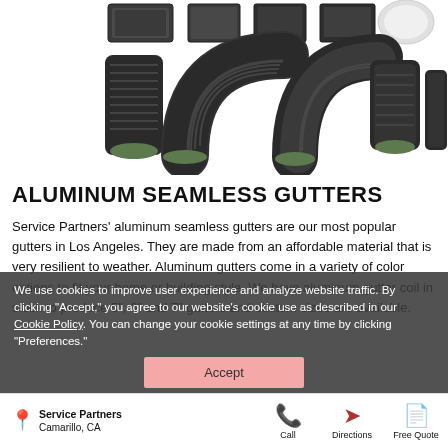[Figure (photo): Product photo showing various aluminum seamless gutter fittings, elbows, and connectors in dark charcoal/grey color with green end caps, arranged on a white background.]
ALUMINUM SEAMLESS GUTTERS
Service Partners' aluminum seamless gutters are our most popular gutters in Los Angeles. They are made from an affordable material that is very resilient to weather. Aluminum gutters come in a variety of color options to fit your home or building style. We have aluminum gutter coil in stock to produce 5", 6" and 7" gutters and custom sizes are available.
We use cookies to improve user experience and analyze website traffic. By clicking “Accept,” you agree to our website’s cookie use as described in our Cookie Policy. You can change your cookie settings at any time by clicking “Preferences.”
Accept
Service Partners
Camarillo, CA
Call
Directions
Free Quote